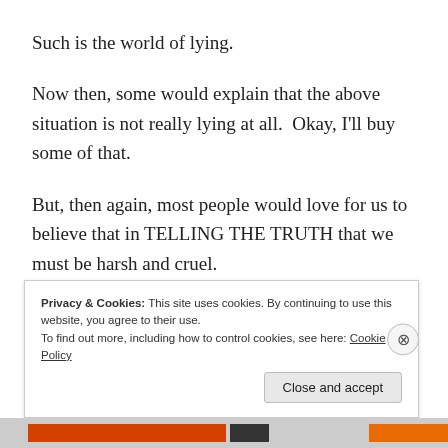Such is the world of lying.
Now then, some would explain that the above situation is not really lying at all.  Okay, I'll buy some of that.
But, then again, most people would love for us to believe that in TELLING THE TRUTH that we must be harsh and cruel.
“I was only saying the truth!” they insist.
Privacy & Cookies: This site uses cookies. By continuing to use this website, you agree to their use.
To find out more, including how to control cookies, see here: Cookie Policy
Close and accept